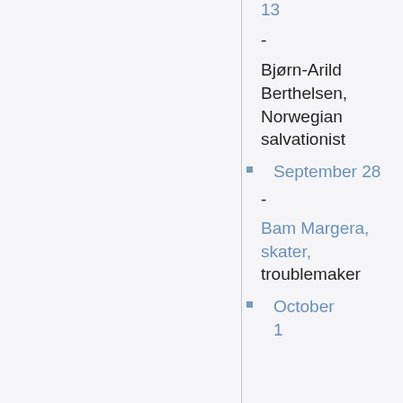13
Bjørn-Arild Berthelsen, Norwegian salvationist
September 28
Bam Margera, skater, troublemaker
October 1